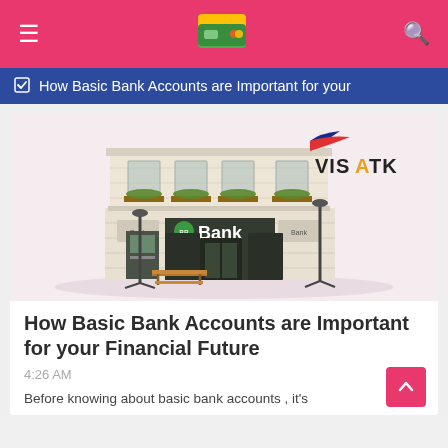≡  [wallet logo]  🔍
☑ How Basic Bank Accounts are Important for your
[Figure (photo): 3D illustration of a classic bank building with lamp posts and a bench outside, with VISATK logo watermark in the upper right corner]
How Basic Bank Accounts are Important for your Financial Future
4:26 AM
Before knowing about basic bank accounts , it's